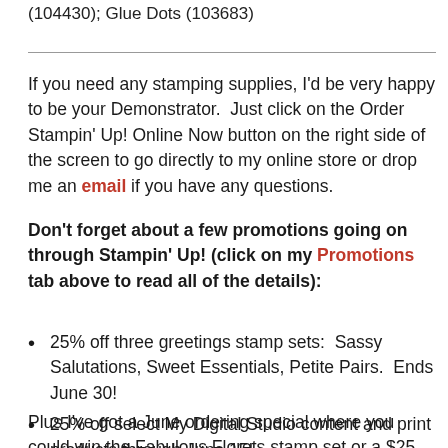(104430); Glue Dots (103683)
If you need any stamping supplies, I'd be very happy to be your Demonstrator.  Just click on the Order Stampin' Up! Online Now button on the right side of the screen to go directly to my online store or drop me an email if you have any questions.
Don't forget about a few promotions going on through Stampin' Up! (click on my Promotions tab above to read all of the details):
25% off three greetings stamp sets:  Sassy Salutations, Sweet Essentials, Petite Pairs.  Ends June 30!
25% off select My Digital Studio content and print products through June 15!
Plus I've got a June ordering special where you could win the Fabulous Florets stamp set or a $25 gift certificate!  Click on